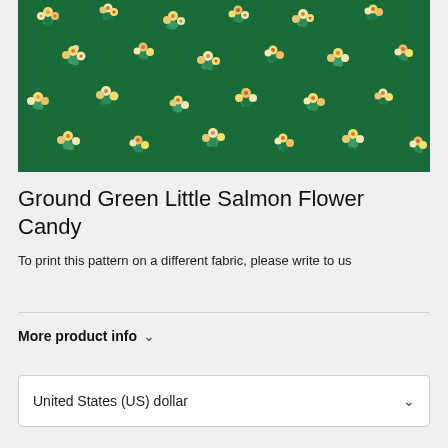[Figure (photo): Close-up photograph of a dark green fabric with a repeating floral pattern featuring small yellow, white, salmon, and orange flower bouquets with teal-green leaf accents scattered across the surface.]
Ground Green Little Salmon Flower Candy
To print this pattern on a different fabric, please write to us
More product info ∨
United States (US) dollar